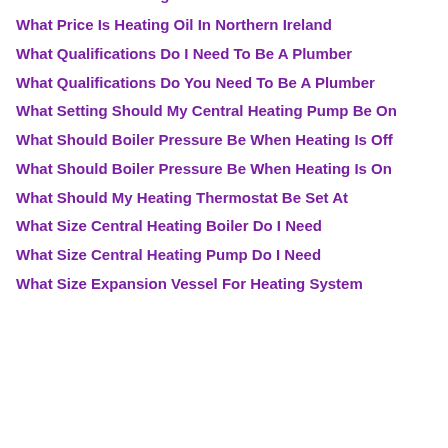What Price Is Heating Oil In Northern Ireland
What Qualifications Do I Need To Be A Plumber
What Qualifications Do You Need To Be A Plumber
What Setting Should My Central Heating Pump Be On
What Should Boiler Pressure Be When Heating Is Off
What Should Boiler Pressure Be When Heating Is On
What Should My Heating Thermostat Be Set At
What Size Central Heating Boiler Do I Need
What Size Central Heating Pump Do I Need
What Size Expansion Vessel For Heating System